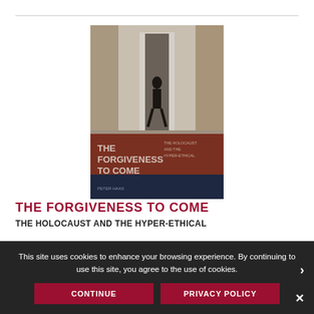[Figure (photo): Book cover of 'The Forgiveness to Come: The Holocaust and the Hyper-Ethical' by Peter Haas. Shows a silhouette of a person walking away down a long corridor. The lower portion has a brown/rust band with the title text in white/grey, and a dark navy lower section.]
THE FORGIVENESS TO COME
THE HOLOCAUST AND THE HYPER-ETHICAL
This site uses cookies to enhance your browsing experience. By continuing to use this site, you agree to the use of cookies.
CONTINUE
PRIVACY POLICY